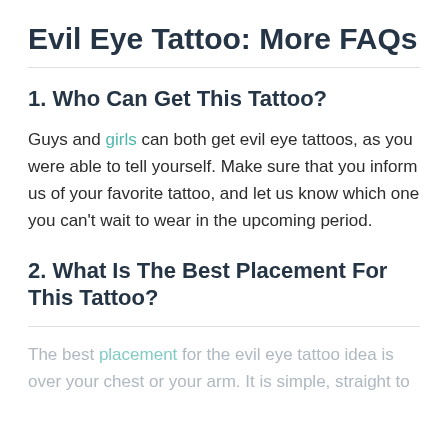Evil Eye Tattoo: More FAQs
1. Who Can Get This Tattoo?
Guys and girls can both get evil eye tattoos, as you were able to tell yourself. Make sure that you inform us of your favorite tattoo, and let us know which one you can't wait to wear in the upcoming period.
2. What Is The Best Placement For This Tattoo?
The best placement for the evil eye tattoo idea is over your chest or your arm. It is simple, straight to